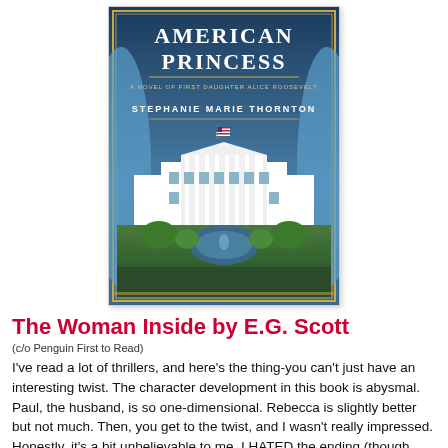[Figure (photo): Book cover of 'American Princess: A Novel of First Daughter Alice Roosevelt' by Stephanie Marie Thornton. Blue-toned cover featuring the White House with gardens in front, American flag, and decorative gold border. Title text in white/cream at top.]
The Woman Inside by E.G. Scott
(c/o Penguin First to Read)
I've read a lot of thrillers, and here's the thing-you can't just have an interesting twist. The character development in this book is abysmal. Paul, the husband, is so one-dimensional. Rebecca is slightly better but not much. Then, you get to the twist, and I wasn't really impressed. Honestly, it's a bit unbelievable to me. I HATED the ending (though some